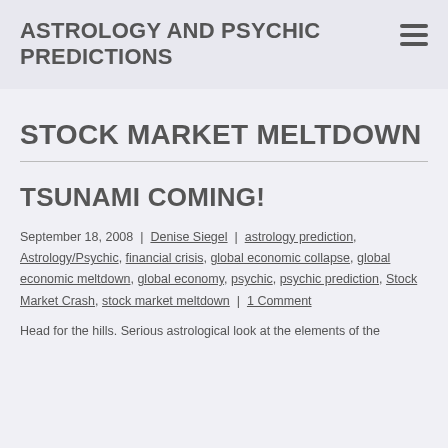ASTROLOGY AND PSYCHIC PREDICTIONS
STOCK MARKET MELTDOWN
TSUNAMI COMING!
September 18, 2008  |  Denise Siegel  |  astrology prediction, Astrology/Psychic, financial crisis, global economic collapse, global economic meltdown, global economy, psychic, psychic prediction, Stock Market Crash, stock market meltdown  |  1 Comment
Head for the hills. Serious astrological look at the elements of the